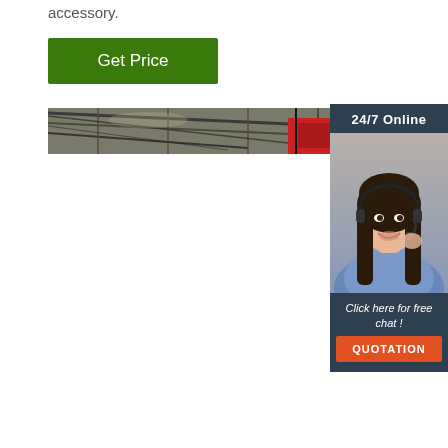accessory.
[Figure (other): Green 'Get Price' button]
[Figure (photo): Industrial warehouse interior showing roof structure and red equipment]
[Figure (infographic): 24/7 Online customer service widget showing a woman with headset, 'Click here for free chat!' text, and an orange QUOTATION button]